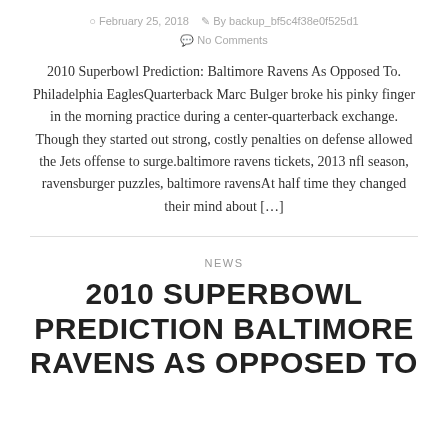February 25, 2018  By backup_bf5c4f38e0f525d1  No Comments
2010 Superbowl Prediction: Baltimore Ravens As Opposed To. Philadelphia EaglesQuarterback Marc Bulger broke his pinky finger in the morning practice during a center-quarterback exchange. Though they started out strong, costly penalties on defense allowed the Jets offense to surge.baltimore ravens tickets, 2013 nfl season, ravensburger puzzles, baltimore ravensAt half time they changed their mind about […]
NEWS
2010 SUPERBOWL PREDICTION BALTIMORE RAVENS AS OPPOSED TO